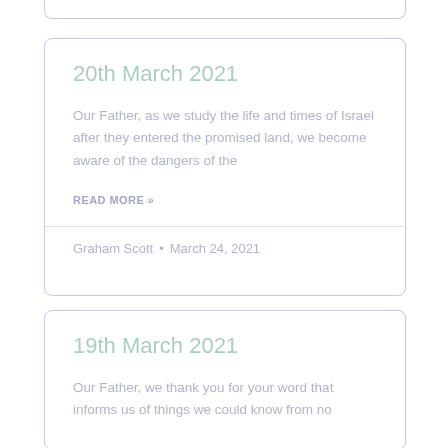20th March 2021
Our Father, as we study the life and times of Israel after they entered the promised land, we become aware of the dangers of the
READ MORE »
Graham Scott • March 24, 2021
19th March 2021
Our Father, we thank you for your word that informs us of things we could know from no